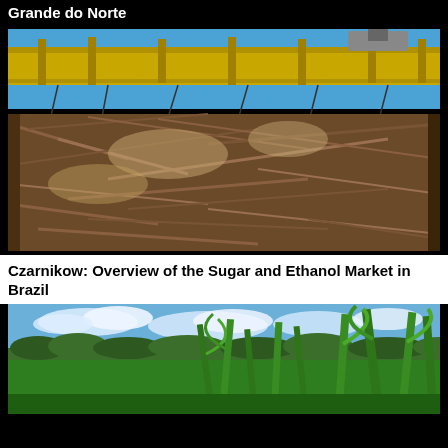Grande do Norte
[Figure (photo): Industrial sugarcane harvesting machinery (yellow gantry crane/conveyor) moving a large pile of harvested sugarcane stalks at a sugar mill. Blue sky visible in background.]
Czarnikow: Overview of the Sugar and Ethanol Market in Brazil
[Figure (photo): A green cornfield with tall corn plants in the foreground, trees and a road in the background under a partly cloudy blue sky.]